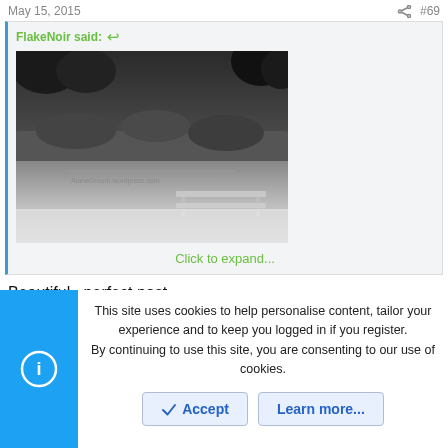May 15, 2015   #69
FlakeNoir said:
[Figure (photo): Black and white landscape photo showing a misty lake or river scene with trees in the background and a wooden bench or fence in the foreground.]
Click to expand...
Beautiful.. perfect post.
This site uses cookies to help personalise content, tailor your experience and to keep you logged in if you register.
By continuing to use this site, you are consenting to our use of cookies.
Accept
Learn more...